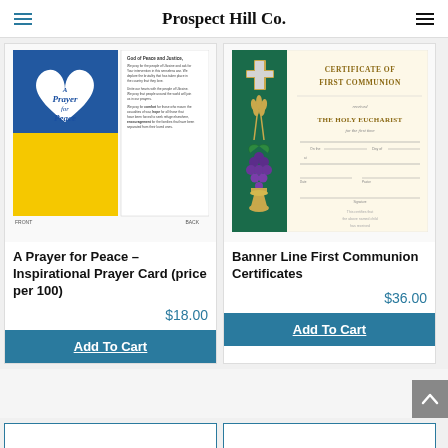Prospect Hill Co.
[Figure (photo): A Prayer for Peace inspirational prayer card showing blue and yellow Ukraine colors with heart shape and prayer text on back]
A Prayer for Peace – Inspirational Prayer Card (price per 100)
$18.00
Add To Cart
[Figure (photo): Banner Line First Communion Certificate with green banner showing cross, wheat, grapes and chalice, beside cream colored certificate paper]
Banner Line First Communion Certificates
$36.00
Add To Cart